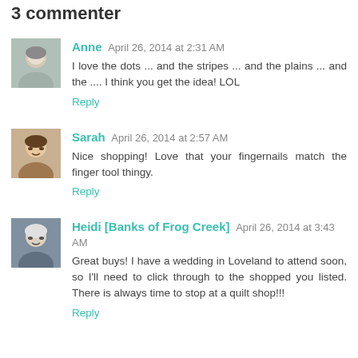3 commenter
Anne  April 26, 2014 at 2:31 AM
I love the dots ... and the stripes ... and the plains ... and the .... I think you get the idea! LOL
Reply
Sarah  April 26, 2014 at 2:57 AM
Nice shopping! Love that your fingernails match the finger tool thingy.
Reply
Heidi [Banks of Frog Creek]  April 26, 2014 at 3:43 AM
Great buys! I have a wedding in Loveland to attend soon, so I'll need to click through to the shopped you listed. There is always time to stop at a quilt shop!!!
Reply